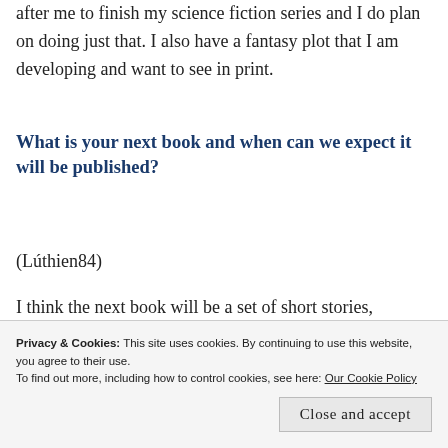after me to finish my science fiction series and I do plan on doing just that. I also have a fantasy plot that I am developing and want to see in print.
What is your next book and when can we expect it will be published?
(Lúthien84)
I think the next book will be a set of short stories, including Harriet's. I hope to have it ready fall. After that I having one of those done by the end of
Privacy & Cookies: This site uses cookies. By continuing to use this website, you agree to their use.
To find out more, including how to control cookies, see here: Our Cookie Policy
Close and accept